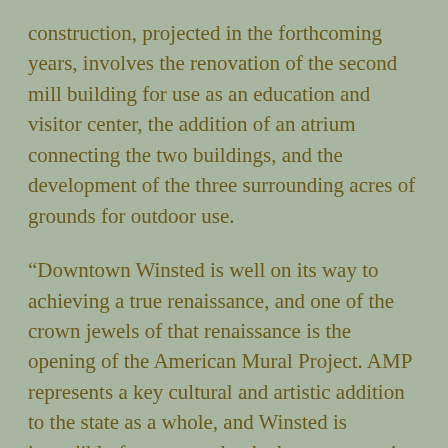construction, projected in the forthcoming years, involves the renovation of the second mill building for use as an education and visitor center, the addition of an atrium connecting the two buildings, and the development of the three surrounding acres of grounds for outdoor use.
“Downtown Winsted is well on its way to achieving a true renaissance, and one of the crown jewels of that renaissance is the opening of the American Mural Project. AMP represents a key cultural and artistic addition to the state as a whole, and Winsted is incredibly fortunate to be the host community for this amazing attraction. The mural itself is a stunning sight to behold, and I hope that residents and visitors alike will make it a priority to enjoy this